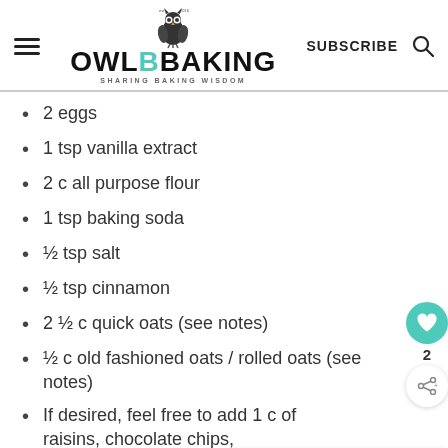OWL B BAKING — SHARING BAKING WISDOM
2 eggs
1 tsp vanilla extract
2 c all purpose flour
1 tsp baking soda
½ tsp salt
½ tsp cinnamon
2 ½ c quick oats (see notes)
½ c old fashioned oats / rolled oats (see notes)
If desired, feel free to add 1 c of raisins, chocolate chips, butterscotch chips, chopped nuts….etc.)